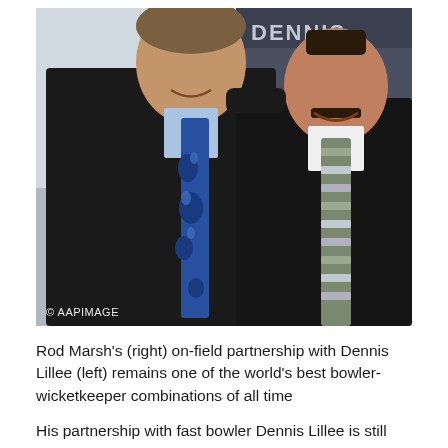[Figure (photo): Two men in dark suits posing together smiling. The man on the left is taller and wearing a blue paisley tie with a light blue shirt. The man on the right has a striped tie (olive, grey, lavender). A building with the partial text 'DENNIS' visible in the background. Watermark '© AAPIMAGE' in lower left corner.]
Rod Marsh's (right) on-field partnership with Dennis Lillee (left) remains one of the world's best bowler-wicketkeeper combinations of all time
His partnership with fast bowler Dennis Lillee is still